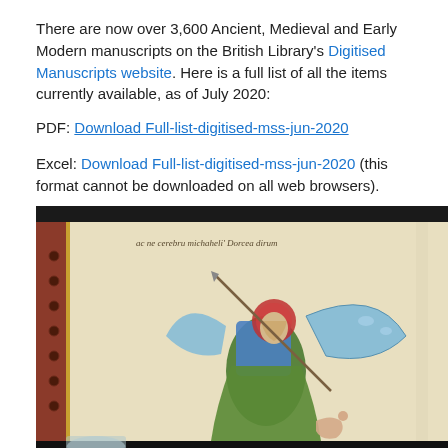There are now over 3,600 Ancient, Medieval and Early Modern manuscripts on the British Library's Digitised Manuscripts website. Here is a full list of all the items currently available, as of July 2020:
PDF:  Download Full-list-digitised-mss-jun-2020
Excel: Download Full-list-digitised-mss-jun-2020 (this format cannot be downloaded on all web browsers).
[Figure (photo): Photograph of an open medieval manuscript showing an illuminated drawing of an angel (Saint Michael) with wings, red halo, blue and green robes, holding a spear or staff, with a small figure below. The manuscript has Latin text at the top. The book spine shows a decorative red and gold binding.]